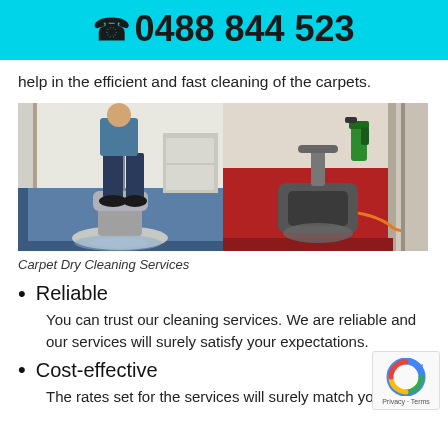0488 844 523
help in the efficient and fast cleaning of the carpets.
[Figure (photo): Two carpet dry cleaning service photos side by side: left shows a technician operating a rotary carpet cleaning machine on blue carpet in an office hallway; right shows a dry cleaning machine on red carpet in a corridor with a spray bottle nearby.]
Carpet Dry Cleaning Services
Reliable
You can trust our cleaning services. We are reliable and our services will surely satisfy your expectations.
Cost-effective
The rates set for the services will surely match your